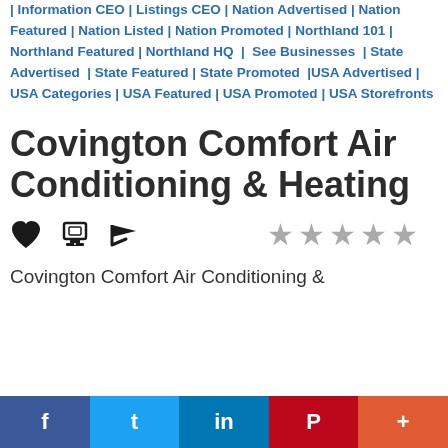| Information CEO | Listings CEO | Nation Advertised | Nation Featured | Nation Listed | Nation Promoted | Northland 101 | Northland Featured | Northland HQ | See Businesses | State Advertised | State Featured | State Promoted |USA Advertised | USA Categories | USA Featured | USA Promoted | USA Storefronts
Covington Comfort Air Conditioning & Heating
★★★★★ (empty stars rating)
Covington Comfort Air Conditioning &
f  t  in  P  +